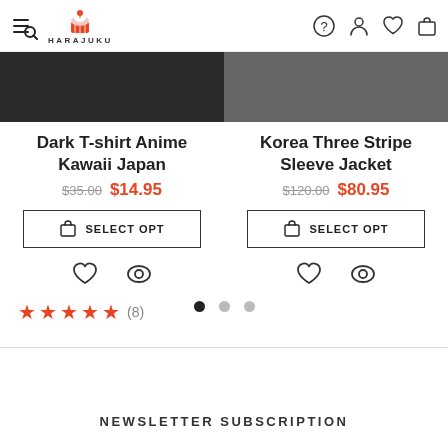HARAJUKU
[Figure (screenshot): Dark product image for Dark T-shirt Anime Kawaii Japan]
[Figure (screenshot): Dark product image for Korea Three Stripe Sleeve Jacket]
Dark T-shirt Anime Kawaii Japan
$35.00 $14.95
SELECT OPT
Korea Three Stripe Sleeve Jacket
$120.00 $80.95
SELECT OPT
★★★★★ (8)
NEWSLETTER SUBSCRIPTION